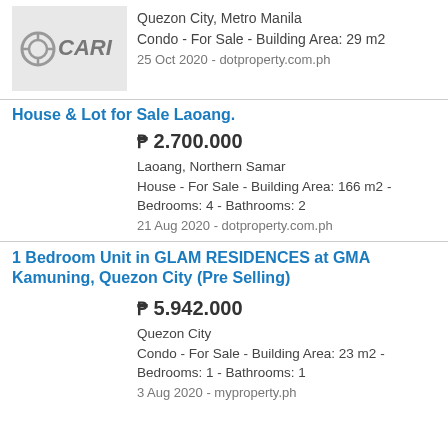[Figure (logo): CARI logo on grey background]
Quezon City, Metro Manila
Condo - For Sale - Building Area: 29 m2
25 Oct 2020 - dotproperty.com.ph
House & Lot for Sale Laoang.
₱ 2.700.000
Laoang, Northern Samar
House - For Sale - Building Area: 166 m2 - Bedrooms: 4 - Bathrooms: 2
21 Aug 2020 - dotproperty.com.ph
1 Bedroom Unit in GLAM RESIDENCES at GMA Kamuning, Quezon City (Pre Selling)
₱ 5.942.000
Quezon City
Condo - For Sale - Building Area: 23 m2 - Bedrooms: 1 - Bathrooms: 1
3 Aug 2020 - myproperty.ph